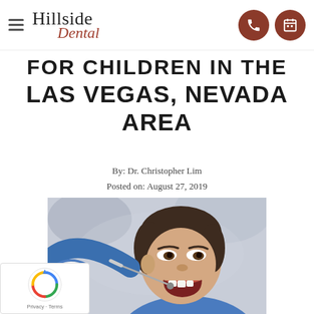Hillside Dental
FOR CHILDREN IN THE LAS VEGAS, NEVADA AREA
By: Dr. Christopher Lim
Posted on: August 27, 2019
[Figure (photo): A dentist wearing blue latex gloves examines a young boy's teeth using a dental tool. The boy has his mouth open and is looking slightly to the side.]